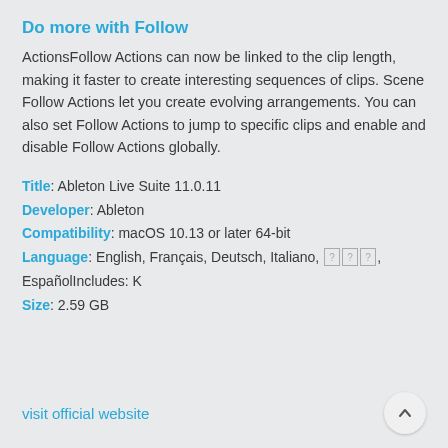Do more with Follow
ActionsFollow Actions can now be linked to the clip length, making it faster to create interesting sequences of clips. Scene Follow Actions let you create evolving arrangements. You can also set Follow Actions to jump to specific clips and enable and disable Follow Actions globally.
Title: Ableton Live Suite 11.0.11
Developer: Ableton
Compatibility: macOS 10.13 or later 64-bit
Language: English, Français, Deutsch, Italiano, [?][?][?], EspañolIncludes: K
Size: 2.59 GB
visit official website